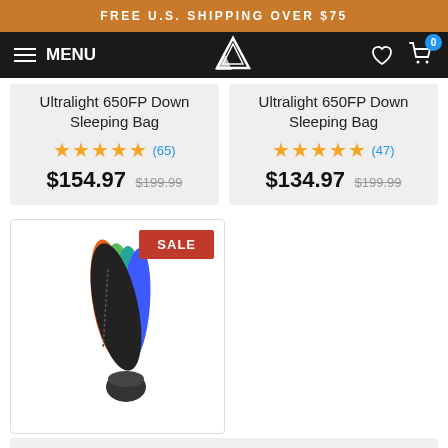FREE U.S. SHIPPING OVER $75
MENU | [logo] | [heart] | [cart 0]
Ultralight 650FP Down Sleeping Bag ★★★★★ (65) $154.97 $199.99
Ultralight 650FP Down Sleeping Bag ★★★★☆ (47) $134.97 $199.99
[Figure (photo): Multiple sleeping bags (orange, green, teal, blue) with compression sack, SALE badge visible]
SALE